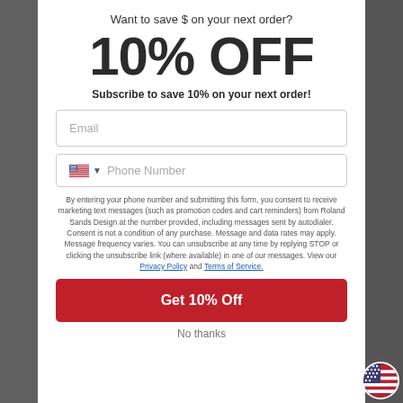Want to save $ on your next order?
10% OFF
Subscribe to save 10% on your next order!
Email
Phone Number
By entering your phone number and submitting this form, you consent to receive marketing text messages (such as promotion codes and cart reminders) from Roland Sands Design at the number provided, including messages sent by autodialer. Consent is not a condition of any purchase. Message and data rates may apply. Message frequency varies. You can unsubscribe at any time by replying STOP or clicking the unsubscribe link (where available) in one of our messages. View our Privacy Policy and Terms of Service.
Get 10% Off
No thanks